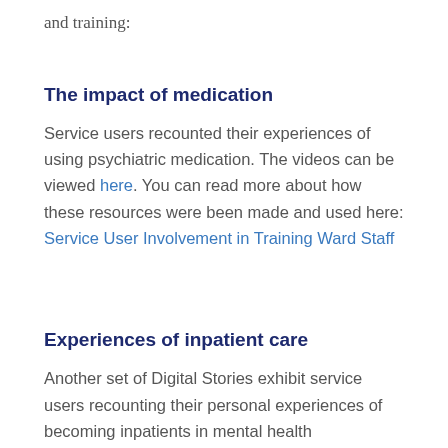and training:
The impact of medication
Service users recounted their experiences of using psychiatric medication. The videos can be viewed here. You can read more about how these resources were been made and used here: Service User Involvement in Training Ward Staff
Experiences of inpatient care
Another set of Digital Stories exhibit service users recounting their personal experiences of becoming inpatients in mental health